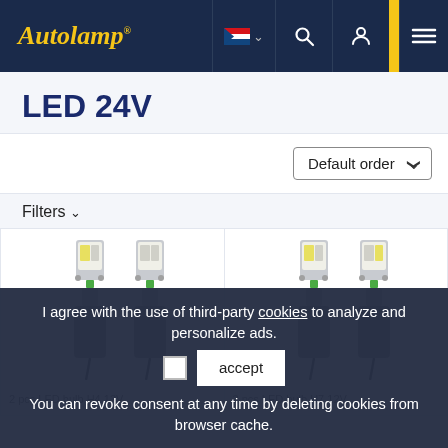Autolamp® - LED 24V category page
LED 24V
Default order
Filters
[Figure (photo): Two LED H4 12V bulbs displayed side by side (left product card)]
[Figure (photo): Two LED H7 12V bulbs displayed side by side (right product card)]
2 pcs LED bulb H4 12V
2 pcs LED bulb H7 12V
I agree with the use of third-party cookies to analyze and personalize ads. [checkbox] accept
You can revoke consent at any time by deleting cookies from browser cache.